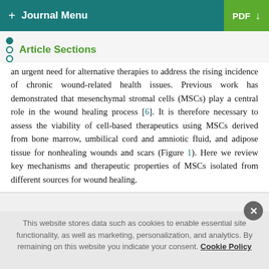+ Journal Menu  PDF ↓
Article Sections
an urgent need for alternative therapies to address the rising incidence of chronic wound-related health issues. Previous work has demonstrated that mesenchymal stromal cells (MSCs) play a central role in the wound healing process [6]. It is therefore necessary to assess the viability of cell-based therapeutics using MSCs derived from bone marrow, umbilical cord and amniotic fluid, and adipose tissue for nonhealing wounds and scars (Figure 1). Here we review key mechanisms and therapeutic properties of MSCs isolated from different sources for wound healing.
This website stores data such as cookies to enable essential site functionality, as well as marketing, personalization, and analytics. By remaining on this website you indicate your consent. Cookie Policy